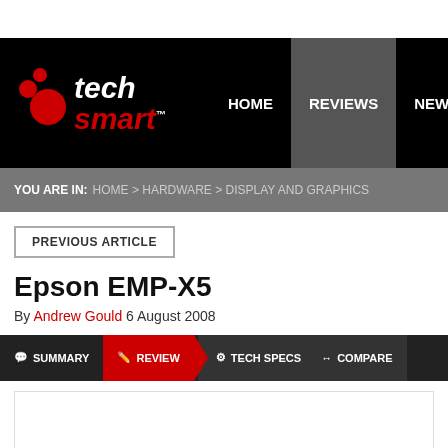[Figure (logo): TechSmart logo with red circles on black background navigation bar. Navigation items: HOME, REVIEWS (active/highlighted), NEWS, BU...]
YOU ARE IN: HOME > HARDWARE > DISPLAY AND GRAPHICS
PREVIOUS ARTICLE
Epson EMP-X5
By Andrew Gould 6 August 2008
SUMMARY | REVIEW | TECH SPECS | COMPARE